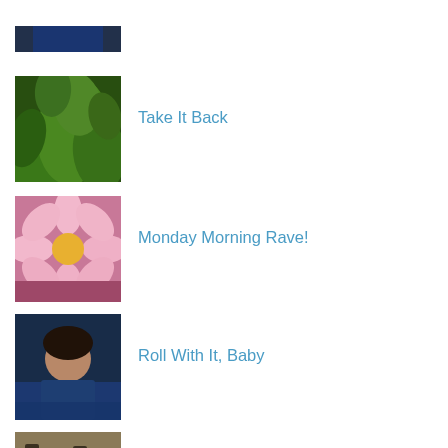[Figure (photo): Thumbnail photo of a woman in a dark blue top against a plain background]
[Figure (photo): Thumbnail photo of green leafy plants/foliage]
Take It Back
[Figure (photo): Thumbnail photo of pink flowers (possibly apple blossom)]
Monday Morning Rave!
[Figure (photo): Thumbnail photo of a woman with dark curly hair in a blue top]
Roll With It, Baby
[Figure (photo): Thumbnail photo of several small brown glass bottles/tinctures]
Vibrant Health